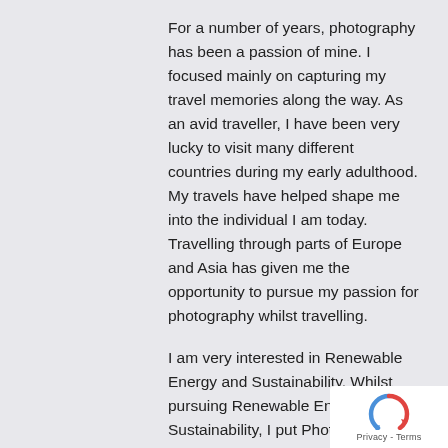For a number of years, photography has been a passion of mine. I focused mainly on capturing my travel memories along the way. As an avid traveller, I have been very lucky to visit many different countries during my early adulthood. My travels have helped shape me into the individual I am today. Travelling through parts of Europe and Asia has given me the opportunity to pursue my passion for photography whilst travelling.
I am very interested in Renewable Energy and Sustainability. Whilst pursuing Renewable Energy and Sustainability, I put Photography on hold. It was not until after I finished my post-secondary studies in Renewable Energy, that I picked up my old camera and started capturing moments. I decided to pursue photography as a full-time career, as family,
[Figure (other): reCAPTCHA logo with Privacy - Terms text below]